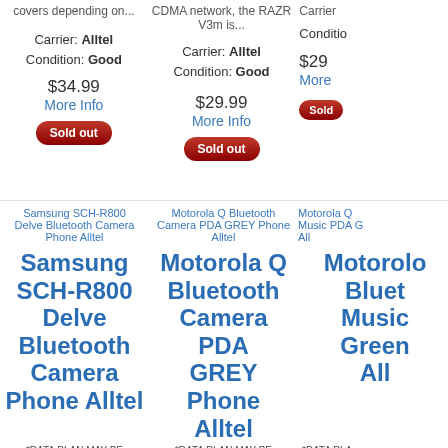covers depending on...
CDMA network, the RAZR V3m is...
Carrier: Alltel
Condition: Good
Carrier: Alltel
Condition: Good
Carrier: ...
$34.99
More Info
$29.99
More Info
$29...
More...
Sold out
Sold out
Sold...
[Figure (other): Samsung SCH-R800 Delve Bluetooth Camera Phone Alltel product thumbnail]
Samsung SCH-R800 Delve Bluetooth Camera Phone Alltel
[Figure (other): Motorola Q Bluetooth Camera PDA GREY Phone Alltel product thumbnail]
Motorola Q Bluetooth Camera PDA GREY Phone Alltel
[Figure (other): Motorola Q Music PDA thumbnail]
Motorola Q Music PDA G... All...
Samsung SCH-R800 Delve Bluetooth Camera Phone Alltel
Motorola Q Bluetooth Camera PDA GREY Phone Alltel
Motorola Bluetooth Music Green All
*DATA PLAN MAY BE REQUIRED FOR USE
*DATA PLAN MAY BE REQUIRED FOR USE The Motorola Q smartphone is
*DATA PLA REQUIRED F life is multi-di